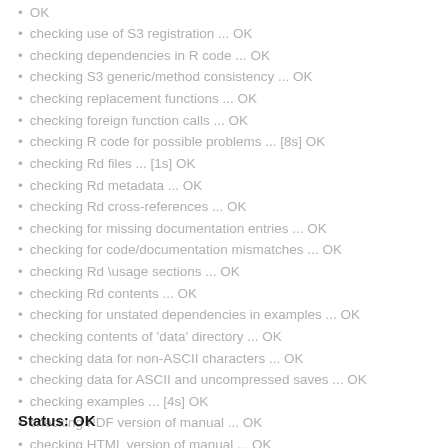OK
checking use of S3 registration ... OK
checking dependencies in R code ... OK
checking S3 generic/method consistency ... OK
checking replacement functions ... OK
checking foreign function calls ... OK
checking R code for possible problems ... [8s] OK
checking Rd files ... [1s] OK
checking Rd metadata ... OK
checking Rd cross-references ... OK
checking for missing documentation entries ... OK
checking for code/documentation mismatches ... OK
checking Rd \usage sections ... OK
checking Rd contents ... OK
checking for unstated dependencies in examples ... OK
checking contents of 'data' directory ... OK
checking data for non-ASCII characters ... OK
checking data for ASCII and uncompressed saves ... OK
checking examples ... [4s] OK
checking PDF version of manual ... OK
checking HTML version of manual ... OK
DONE
Status: OK